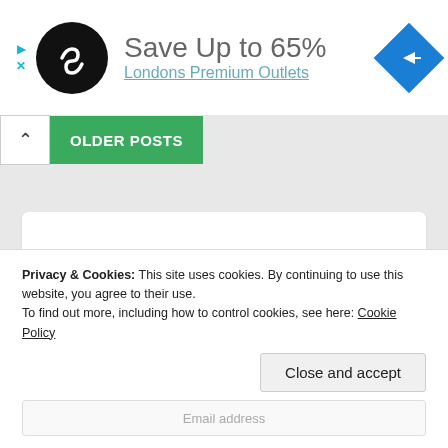[Figure (screenshot): Advertisement banner with a black circular logo with white infinity/code symbol, text 'Save Up to 65%' and partially visible subtitle, and a blue diamond-shaped navigation arrow icon on the right.]
OLDER POSTS
Privacy & Cookies: This site uses cookies. By continuing to use this website, you agree to their use.
To find out more, including how to control cookies, see here: Cookie Policy
Close and accept
Email address